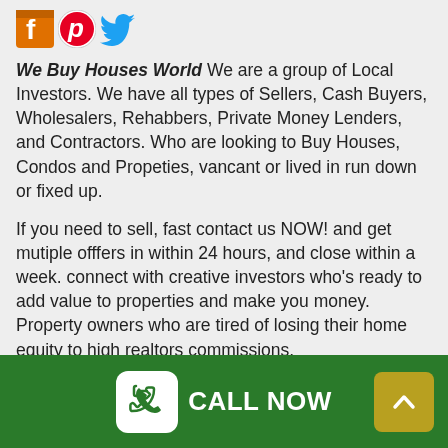[Figure (logo): Social media icons: Facebook (orange/blue f), Pinterest (red circle with P), Twitter (blue bird)]
We Buy Houses World We are a group of Local Investors. We have all types of Sellers, Cash Buyers, Wholesalers, Rehabbers, Private Money Lenders, and Contractors. Who are looking to Buy Houses, Condos and Propeties, vancant or lived in run down or fixed up.
If you need to sell, fast contact us NOW! and get mutiple offfers in within 24 hours, and close within a week. connect with creative investors who's ready to add value to properties and make you money. Property owners who are tired of losing their home equity to high realtors commissions.
Connect with us and cut out the expensive middle man.
CALL NOW